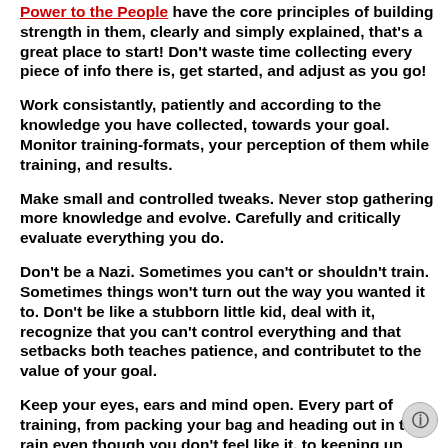Power to the People have the core principles of building strength in them, clearly and simply explained, that's a great place to start! Don't waste time collecting every piece of info there is, get started, and adjust as you go!
Work consistantly, patiently and according to the knowledge you have collected, towards your goal. Monitor training-formats, your perception of them while training, and results.
Make small and controlled tweaks. Never stop gathering more knowledge and evolve. Carefully and critically evaluate everything you do.
Don't be a Nazi. Sometimes you can't or shouldn't train. Sometimes things won't turn out the way you wanted it to. Don't be like a stubborn little kid, deal with it, recognize that you can't control everything and that setbacks both teaches patience, and contributet to the value of your goal.
Keep your eyes, ears and mind open. Every part of training, from packing your bag and heading out in the rain even though you don't feel like it, to keeping up even when it doesn't seem to deliver